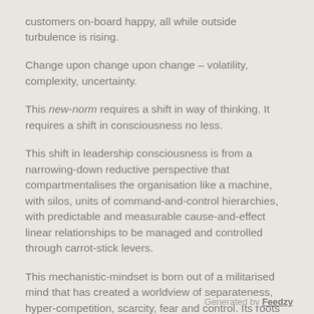customers on-board happy, all while outside turbulence is rising.
Change upon change upon change – volatility, complexity, uncertainty.
This new-norm requires a shift in way of thinking. It requires a shift in consciousness no less.
This shift in leadership consciousness is from a narrowing-down reductive perspective that compartmentalises the organisation like a machine, with silos, units of command-and-control hierarchies, with predictable and measurable cause-and-effect linear relationships to be managed and controlled through carrot-stick levers.
This mechanistic-mindset is born out of a militarised mind that has created a worldview of separateness, hyper-competition, scarcity, fear and control. Its roots span way back in human history, yet it has become overly-dominant in business during recent decades.